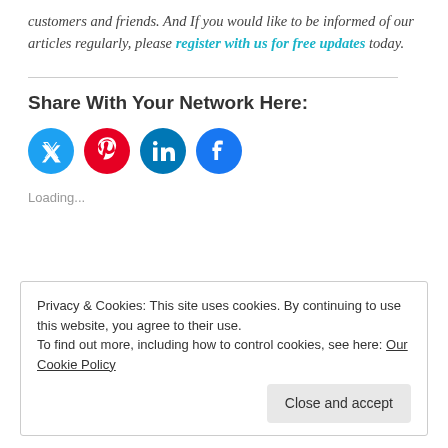customers and friends. And If you would like to be informed of our articles regularly, please register with us for free updates today.
Share With Your Network Here:
[Figure (infographic): Four social media share buttons: Twitter (cyan), Pinterest (red), LinkedIn (dark cyan), Facebook (blue)]
Loading...
Privacy & Cookies: This site uses cookies. By continuing to use this website, you agree to their use. To find out more, including how to control cookies, see here: Our Cookie Policy